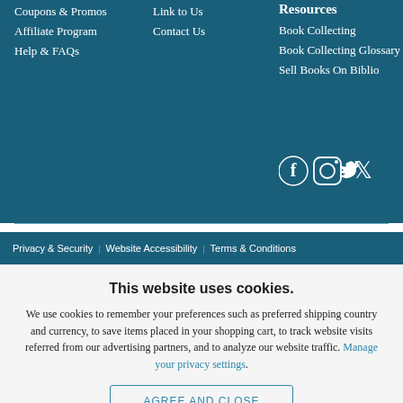Coupons & Promos
Affiliate Program
Help & FAQs
Link to Us
Contact Us
Resources
Book Collecting
Book Collecting Glossary
Sell Books On Biblio
[Figure (illustration): Social media icons: Facebook, Instagram, Twitter]
Privacy & Security | Website Accessibility | Terms & Conditions
This website uses cookies.
We use cookies to remember your preferences such as preferred shipping country and currency, to save items placed in your shopping cart, to track website visits referred from our advertising partners, and to analyze our website traffic. Manage your privacy settings.
AGREE AND CLOSE